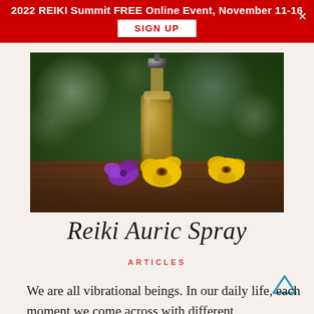2022 REIKI Summit FREE Online Event, November 11-16  SIGN UP
[Figure (photo): Glass dropper bottle containing amber/golden oil, with yellow and purple pansy flowers on a wooden surface, blurred green bokeh background]
Reiki Auric Spray
ARTICLES
We are all vibrational beings. In our daily life, each moment we come across with different